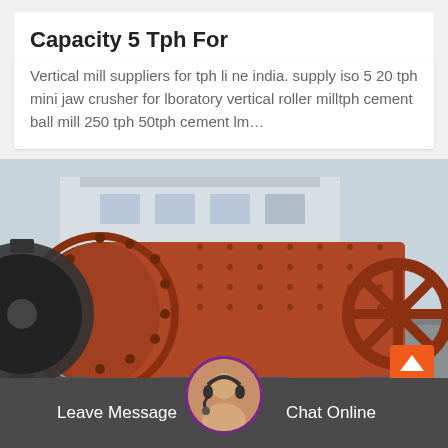Capacity 5 Tph For
Vertical mill suppliers for tph li ne india. supply iso 5 20 tph mini jaw crusher for lboratory vertical roller milltph cement ball mill 250 tph 50tph cement lm…
[Figure (photo): Industrial ball mill / cement grinding mill machine, rust-red colored cylindrical drum with large gear wheel on left side and smaller wheel on right, photographed outdoors at an industrial facility with a building in the background.]
Leave Message
Chat Online